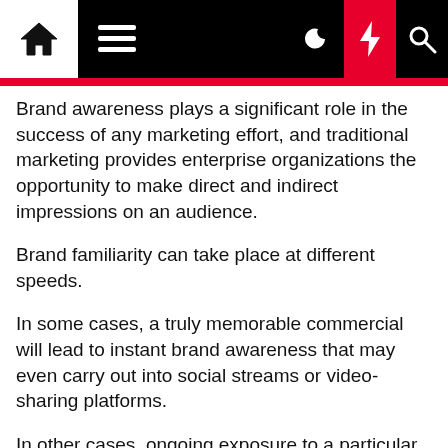[Navigation bar with home, menu, dark mode, lightning, search icons]
Brand awareness plays a significant role in the success of any marketing effort, and traditional marketing provides enterprise organizations the opportunity to make direct and indirect impressions on an audience.
Brand familiarity can take place at different speeds.
In some cases, a truly memorable commercial will lead to instant brand awareness that may even carry out into social streams or video-sharing platforms.
In other cases, ongoing exposure to a particular ad spot or series of ad spots can also lead to brand awareness, even if the audience member isn't fully engaged.
Familiarity can and frequently does impact our